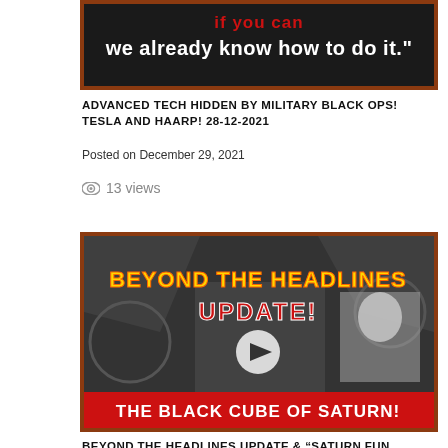[Figure (screenshot): Dark banner image with red/brown border, white bold text on dark background reading 'we already know how to do it.']
ADVANCED TECH HIDDEN BY MILITARY BLACK OPS! TESLA AND HAARP! 28-12-2021
Posted on December 29, 2021
13 views
[Figure (screenshot): Video thumbnail with brown/rust border showing black and white image of man in suit holding staff, with blonde woman inset, glowing yellow text 'BEYOND THE HEADLINES UPDATE!' and red bold text 'THE BLACK CUBE OF SATURN!' with play button overlay]
BEYOND THE HEADLINES UPDATE & “SATURN FUN FACTS”! 27-112-2021
Posted on December 27, 2021